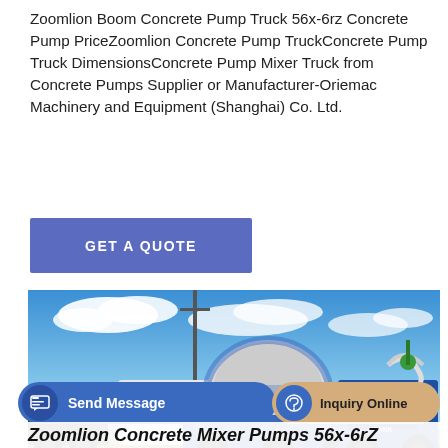Zoomlion Boom Concrete Pump Truck 56x-6rz Concrete Pump PriceZoomlion Concrete Pump TruckConcrete Pump Truck DimensionsConcrete Pump Mixer Truck from Concrete Pumps Supplier or Manufacturer-Oriemac Machinery and Equipment (Shanghai) Co. Ltd.
[Figure (other): Blue GET A QUOTE call-to-action button]
[Figure (photo): Outdoor photo of blue and white concrete mixer pump trucks lined up on a construction site with blue sky and clouds in background. Text 'WATER TANK' visible on rightmost machine.]
[Figure (other): Send Message button (blue rounded, with icon) and Inquiry Online button (tan/gold rounded, with headphone icon) at bottom of page]
Zoomlion Concrete Mixer Pumps 56x-6rZ